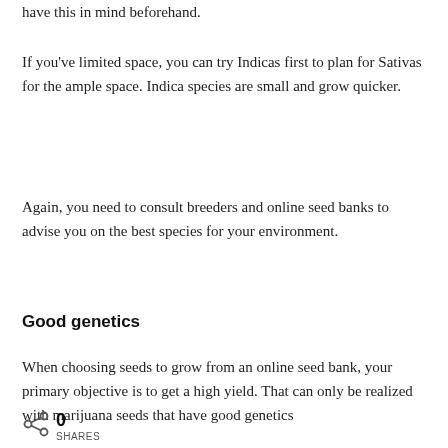have this in mind beforehand.
If you've limited space, you can try Indicas first to plan for Sativas for the ample space. Indica species are small and grow quicker.
Again, you need to consult breeders and online seed banks to advise you on the best species for your environment.
Good genetics
When choosing seeds to grow from an online seed bank, your primary objective is to get a high yield. That can only be realized with marijuana seeds that have good genetics
0 SHARES